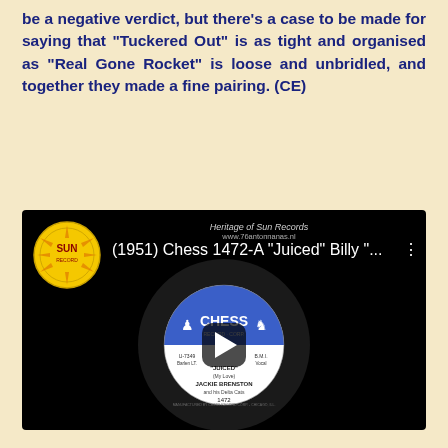be a negative verdict, but there's a case to be made for saying that "Tuckered Out" is as tight and organised as "Real Gone Rocket" is loose and unbridled, and together they made a fine pairing. (CE)
[Figure (screenshot): YouTube-style video thumbnail showing a Chess Records 45rpm vinyl record label for 'Juiced' by Jackie Brenston and his Delta Cats, Chess 1472-A, 1951. The video title reads '(1951) Chess 1472-A "Juiced" Billy "...' with a Sun Records logo in the top left corner and a play button overlay.]